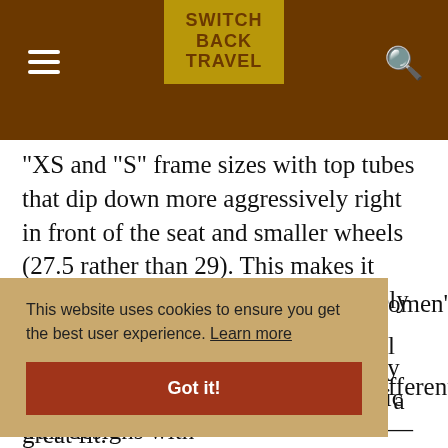SWITCH BACK TRAVEL
"XS and "S" frame sizes with top tubes that dip down more aggressively right in front of the seat and smaller wheels (27.5 rather than 29). This makes it easier for shorter riders to comfortably stand over and control the bike. For many women, simply having an array of size options is all they need to get a great fit.
This website uses cookies to ensure you get the best user experience. Learn more
Got it!
quality brands make women's specific trail designs with